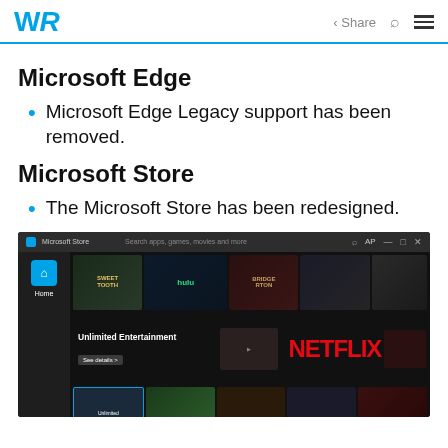WR | Share [search] [menu]
Microsoft Edge
Microsoft Edge Legacy support has been removed.
Microsoft Store
The Microsoft Store has been redesigned.
[Figure (screenshot): Screenshot of the redesigned Microsoft Store application showing the Home page with featured content including Sweet Tooth, Hulu, Bridgerton shows, an 'Unlimited Entertainment' panel with Netflix logo and 'See details' button, and various content tiles at the bottom.]